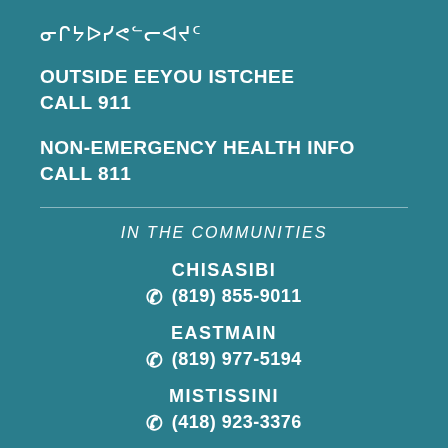ᓂᒋᔭᐅᓯᕙᓪᓕᐊᔪᑦ
OUTSIDE EEYOU ISTCHEE
CALL 911
NON-EMERGENCY HEALTH INFO
CALL 811
IN THE COMMUNITIES
CHISASIBI
☎ (819) 855-9011
EASTMAIN
☎ (819) 977-5194
MISTISSINI
☎ (418) 923-3376